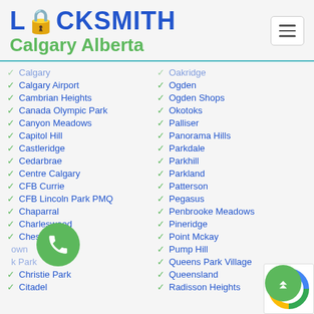LOCKSMITH Calgary Alberta
Calgary
Oakridge
Calgary Airport
Ogden
Cambrian Heights
Ogden Shops
Canada Olympic Park
Okotoks
Canyon Meadows
Palliser
Capitol Hill
Panorama Hills
Castleridge
Parkdale
Cedarbrae
Parkhill
Centre Calgary
Parkland
CFB Currie
Patterson
CFB Lincoln Park PMQ
Pegasus
Chaparral
Penbrooke Meadows
Charleswood
Pineridge
Chestermere
Point Mckay
Chinatown
Pump Hill
Chinook Park
Queens Park Village
Christie Park
Queensland
Citadel
Radisson Heights